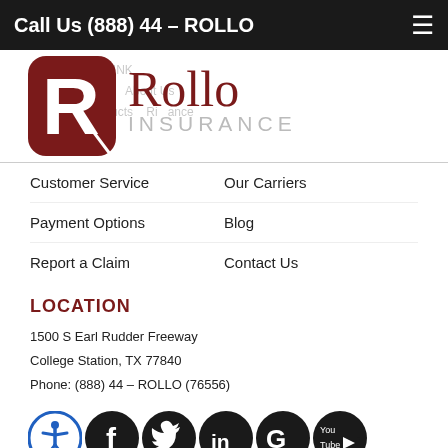Call Us (888) 44 – ROLLO
[Figure (logo): Rollo Insurance logo with dark red R lettermark and 'Rollo INSURANCE' text]
Customer Service
Our Carriers
Payment Options
Blog
Report a Claim
Contact Us
LOCATION
1500 S Earl Rudder Freeway
College Station, TX 77840
Phone: (888) 44 – ROLLO (76556)
[Figure (illustration): Social media icons: accessibility, Facebook, Twitter, LinkedIn, Google, YouTube]